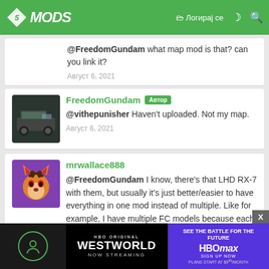5MODS - Логирај се
@FreedomGundam what map mod is that? can you link it?
Август 6, 2021
FreedomGundam [Автор] @vithepunisher Haven't uploaded. Not my map. Август 6, 2021
mrwallace888 @FreedomGundam I know, there's that LHD RX-7 with them, but usually it's just better/easier to have everything in one mod instead of multiple. Like for example, I have multiple FC models because each one has different tuning parts. However, each model also has differing quality and sometimes size. Август 7, 2021
[Figure (screenshot): HBO Westworld and HBOmax advertisement banner at the bottom]